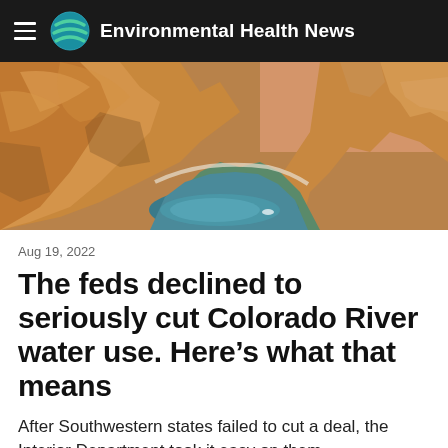Environmental Health News
[Figure (photo): Aerial view of the Colorado River running through red sandstone canyon with low water levels, showing white bathtub ring on canyon walls]
Aug 19, 2022
The feds declined to seriously cut Colorado River water use. Here’s what that means
After Southwestern states failed to cut a deal, the Interior Department took it easy on them.